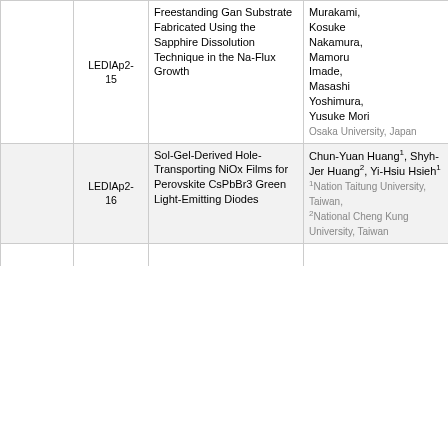|  |  | ID | Title | Authors | Abstract |
| --- | --- | --- | --- | --- | --- |
|  |  | LEDIAp2-15 | Freestanding Gan Substrate Fabricated Using the Sapphire Dissolution Technique in the Na-Flux Growth | Murakami, Kosuke Nakamura, Mamoru Imade, Masashi Yoshimura, Yusuke Mori
Osaka University, Japan | substrates, incorporat impurity in can't be avoid. For reduction impurity, GaN crystals were regrown on G substrates obtained by th technique. |
|  |  | LEDIAp2-16 | Sol-Gel-Derived Hole-Transporting NiOx Films for Perovskite CsPbBr3 Green Light-Emitting Diodes | Chun-Yuan Huang1, Shyh-Jer Huang2, Yi-Hsiu Hsieh1
1Nation Taitung University, Taiwan,
2National Cheng Kung University, Taiwan | A novel perov light-emitting diodes (PeLE with nickel oxi for efficient ho transport. Via adequately adjusting the thickness of N low turn-on vo of 3.4 V and h luminance of cd/m2 can be achieved. |
|  |  |  |  |  | New driving technology of micro-light- |